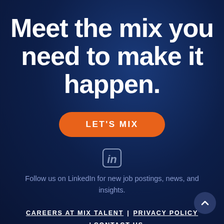Meet the mix you need to make it happen.
LET'S MIX
[Figure (logo): LinkedIn icon — rounded square border with 'in' text inside]
Follow us on LinkedIn for new job postings, news, and insights.
CAREERS AT MIX TALENT | PRIVACY POLICY | CONTACT US
SITEMAP